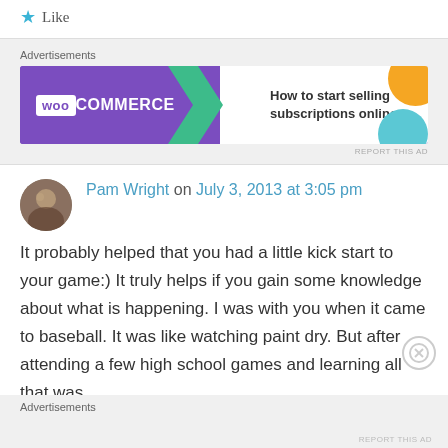★ Like
Advertisements
[Figure (illustration): WooCommerce advertisement banner: purple left side with WOO COMMERCE logo and green arrow, white right side with text 'How to start selling subscriptions online' and orange and teal circle blobs]
REPORT THIS AD
Pam Wright on July 3, 2013 at 3:05 pm
It probably helped that you had a little kick start to your game:) It truly helps if you gain some knowledge about what is happening. I was with you when it came to baseball. It was like watching paint dry. But after attending a few high school games and learning all that was
Advertisements
REPORT THIS AD